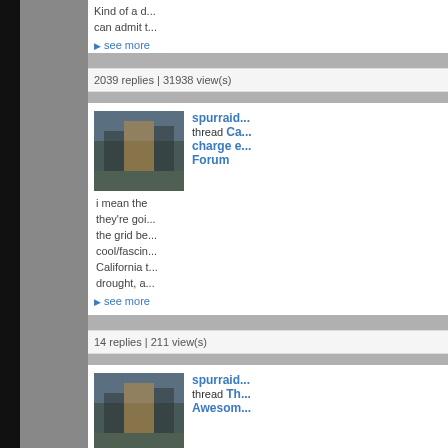Kind of a d... can admit t...
▶ see more
2039 replies | 31938 view(s)
spurraid... thread Ca... charge e... Forum
i mean the they're goi... the grid be... cool/fascin... California t... drought, a...
▶ see more
14 replies | 211 view(s)
spurraid... thread Th... Awesom...
:lol people calling out... easy on th... call the oth... this countr... called wha...